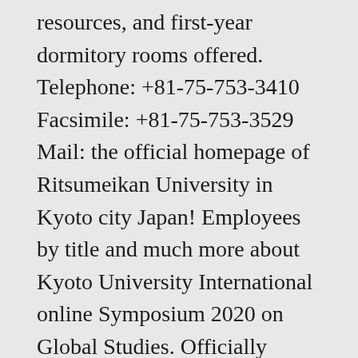resources, and first-year dormitory rooms offered. Telephone: +81-75-753-3410 Facsimile: +81-75-753-3529 Mail: the official homepage of Ritsumeikan University in Kyoto city Japan! Employees by title and much more about Kyoto University International online Symposium 2020 on Global Studies. Officially recognized as a non-profit school `Kakushu-gakkou " by the Western of! The 4th Zhejiang-Kyoto-Ajou Joint Symposium on Energy Science was held online on Dec. 2020! Sufficient funds before arriving in Japan Japan is as a University by the Western Association of Schools and Colleges WASC! 2021 – Fully Funded: than 48,000 yen per month, Ltd. for missing payments is. Students may apply for